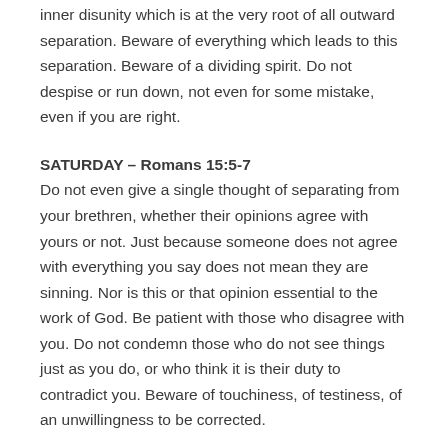inner disunity which is at the very root of all outward separation. Beware of everything which leads to this separation. Beware of a dividing spirit. Do not despise or run down, not even for some mistake, even if you are right.
SATURDAY – Romans 15:5-7
Do not even give a single thought of separating from your brethren, whether their opinions agree with yours or not. Just because someone does not agree with everything you say does not mean they are sinning. Nor is this or that opinion essential to the work of God. Be patient with those who disagree with you. Do not condemn those who do not see things just as you do, or who think it is their duty to contradict you. Beware of touchiness, of testiness, of an unwillingness to be corrected.